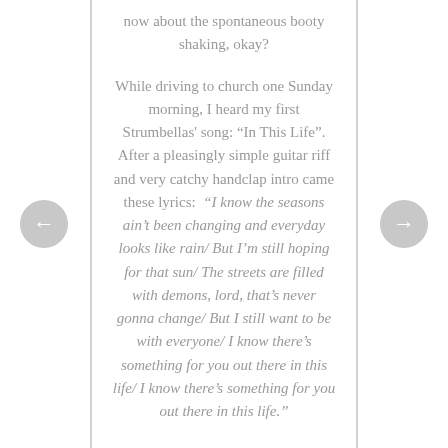now about the spontaneous booty shaking, okay?
While driving to church one Sunday morning, I heard my first Strumbellas' song: “In This Life”. After a pleasingly simple guitar riff and very catchy handclap intro came these lyrics: “I know the seasons ain’t been changing and everyday looks like rain/ But I’m still hoping for that sun/ The streets are filled with demons, lord, that’s never gonna change/ But I still want to be with everyone/ I know there’s something for you out there in this life/ I know there’s something for you out there in this life.”